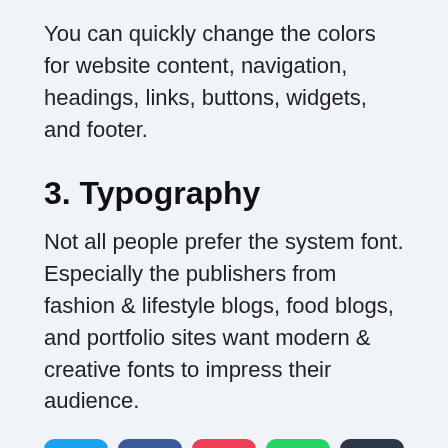You can quickly change the colors for website content, navigation, headings, links, buttons, widgets, and footer.
3. Typography
Not all people prefer the system font. Especially the publishers from fashion & lifestyle blogs, food blogs, and portfolio sites want modern & creative fonts to impress their audience.
[Figure (infographic): Row of five social share buttons: Twitter (blue), Facebook (dark blue), Pocket (red), WhatsApp (green), Buffer (dark slate)]